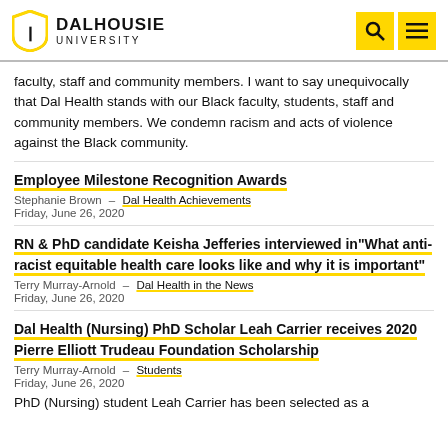Dalhousie University
faculty, staff and community members. I want to say unequivocally that Dal Health stands with our Black faculty, students, staff and community members. We condemn racism and acts of violence against the Black community.
Employee Milestone Recognition Awards
Stephanie Brown – Dal Health Achievements
Friday, June 26, 2020
RN & PhD candidate Keisha Jefferies interviewed in"What anti-racist equitable health care looks like and why it is important"
Terry Murray-Arnold – Dal Health in the News
Friday, June 26, 2020
Dal Health (Nursing) PhD Scholar Leah Carrier receives 2020 Pierre Elliott Trudeau Foundation Scholarship
Terry Murray-Arnold – Students
Friday, June 26, 2020
PhD (Nursing) student Leah Carrier has been selected as a